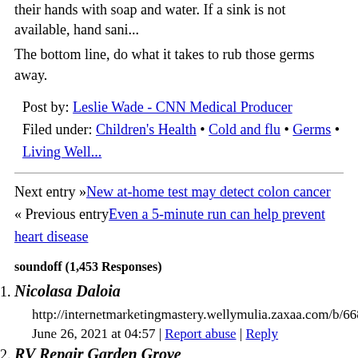their hands with soap and water. If a sink is not available, hand sani...
The bottom line, do what it takes to rub those germs away.
Post by: Leslie Wade - CNN Medical Producer
Filed under: Children's Health • Cold and flu • Germs • Living Well...
Next entry »New at-home test may detect colon cancer
« Previous entryEven a 5-minute run can help prevent heart disease
soundoff (1,453 Responses)
1. Nicolasa Daloia
http://internetmarketingmastery.wellymulia.zaxaa.com/b/6685...
June 26, 2021 at 04:57 | Report abuse | Reply
2. RV Repair Garden Grove
https://www.operationworld.org/updates/checkurl.php?https://t...
June 26, 2021 at 05:04 | Report abuse | Reply
3. RV Roof Repair Service Near Me
http://wangxiao.cn/redirect.aspx?url=https://perakinsights.com...